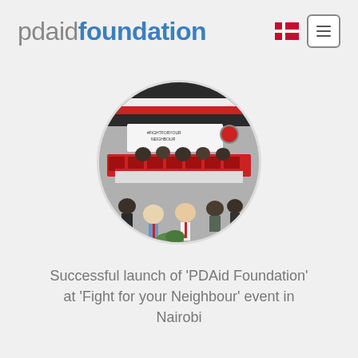pdaidfoundation
[Figure (photo): Circular cropped photo of a conference or launch event with people seated in an auditorium decorated in red and white, with a banner reading #FIGHTFORYOURNEIGHBOUR and a logo on the right. Two men in the foreground wear red ties.]
Successful launch of 'PDAid Foundation' at 'Fight for your Neighbour' event in Nairobi